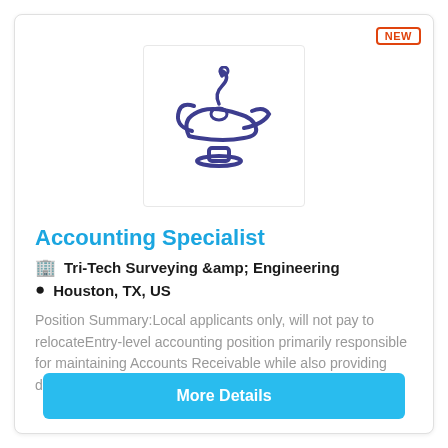[Figure (logo): Aladdin lamp icon in dark navy/purple color inside a white box with light border]
Accounting Specialist
🏢 Tri-Tech Surveying &amp; Engineering
📍 Houston, TX, US
Position Summary:Local applicants only, will not pay to relocateEntry-level accounting position primarily responsible for maintaining Accounts Receivable while also providing data entry support for Ac...
More Details